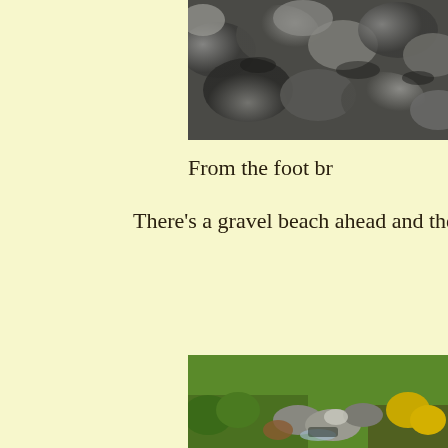[Figure (photo): Photograph of rocky terrain - large boulders and rocks, viewed from above]
From the foot br
There's a gravel beach ahead and the
[Figure (photo): Photograph of a mountain stream with rocks, gorse bushes with yellow flowers, and green vegetation]